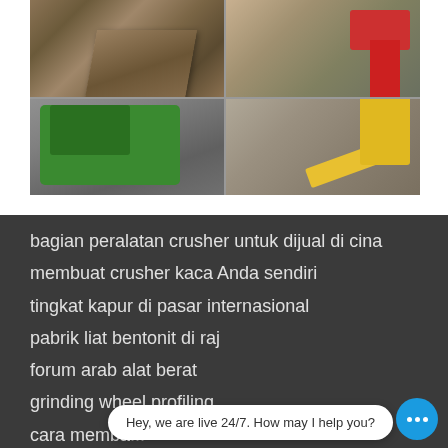[Figure (photo): A 2x2 grid of photos showing stone crusher and mining equipment machinery at quarry sites. Top-left: conveyor/crusher machinery with earthen mounds. Top-right: aerial view of quarry with red machinery. Bottom-left: green mobile crusher/screening plant on tracks. Bottom-right: yellow conveyor belt equipment at quarry.]
bagian peralatan crusher untuk dijual di cina
membuat crusher kaca Anda sendiri
tingkat kapur di pasar internasional
pabrik liat bentonit di raj
forum arab alat berat
grinding wheel profiling
cara memba...
Toilet Penggiling Untuk Basement